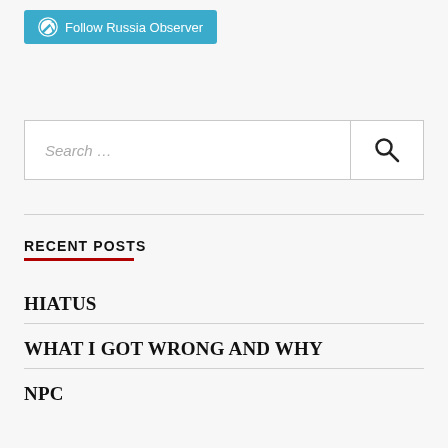[Figure (logo): WordPress Follow button — cyan/teal button with WordPress W icon and text 'Follow Russia Observer']
Search …
RECENT POSTS
HIATUS
WHAT I GOT WRONG AND WHY
NPC